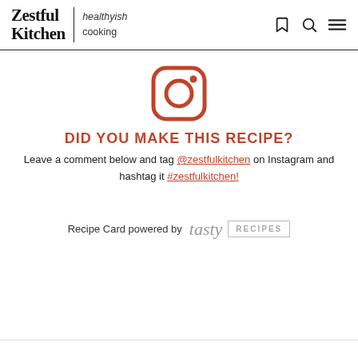Zestful Kitchen | healthyish cooking
[Figure (logo): Instagram logo icon in orange/red outline style]
DID YOU MAKE THIS RECIPE?
Leave a comment below and tag @zestfulkitchen on Instagram and hashtag it #zestfulkitchen!
Recipe Card powered by tasty RECIPES